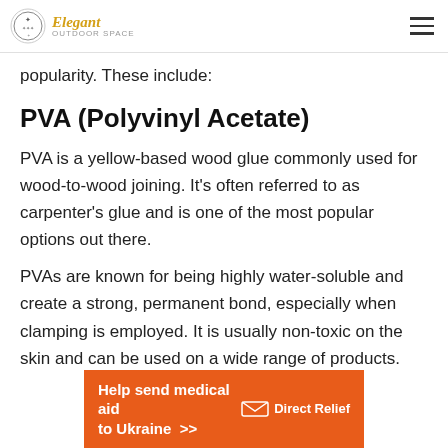Elegant Outdoor Space
popularity. These include:
PVA (Polyvinyl Acetate)
PVA is a yellow-based wood glue commonly used for wood-to-wood joining. It's often referred to as carpenter's glue and is one of the most popular options out there.
PVAs are known for being highly water-soluble and create a strong, permanent bond, especially when clamping is employed. It is usually non-toxic on the skin and can be used on a wide range of products.
[Figure (infographic): Orange advertisement banner reading 'Help send medical aid to Ukraine >>' with Direct Relief logo]